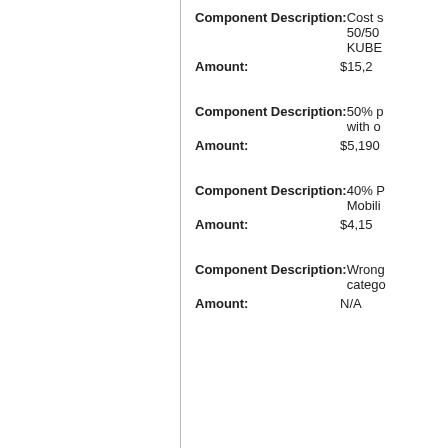Component Description: Cost s 50/50 KUBE
Amount: $15,2
Component Description: 50% p with o
Amount: $5,190
Component Description: 40% P Mobili
Amount: $4,15
Component Description: Wrong catego
Amount: N/A